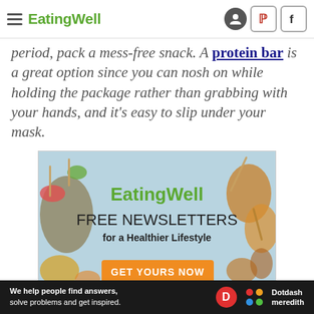EatingWell
period, pack a mess-free snack. A protein bar is a great option since you can nosh on while holding the package rather than grabbing with your hands, and it's easy to slip under your mask.
[Figure (photo): EatingWell advertisement promoting Free Newsletters for a Healthier Lifestyle with a GET YOURS NOW call-to-action button, overlaid on an image of food skewers and colorful produce on a light blue background.]
We help people find answers, solve problems and get inspired. Dotdash meredith